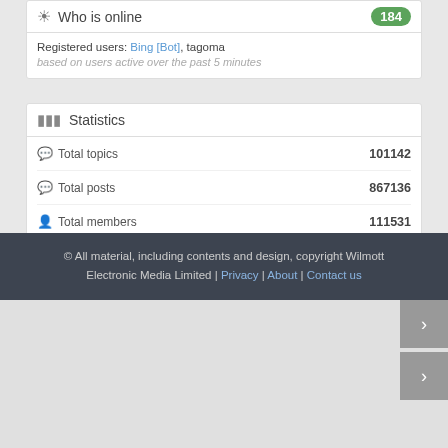Who is online — 184
Registered users: Bing [Bot], tagoma
based on users active over the past 5 minutes
Statistics
Total topics — 101142
Total posts — 867136
Total members — 111531
Our newest member — mikolajpabiszczak
© All material, including contents and design, copyright Wilmott Electronic Media Limited | Privacy | About | Contact us